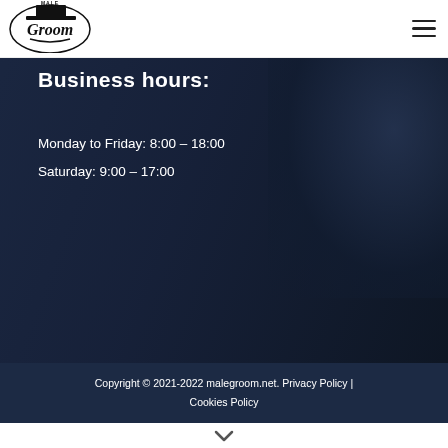[Figure (logo): Male Groom logo — top hat with 'MALE' text above and 'Groom' script below in a shield-style emblem]
Business hours:
Monday to Friday: 8:00 – 18:00
Saturday: 9:00 – 17:00
Copyright © 2021-2022 malegroom.net. Privacy Policy | Cookies Policy